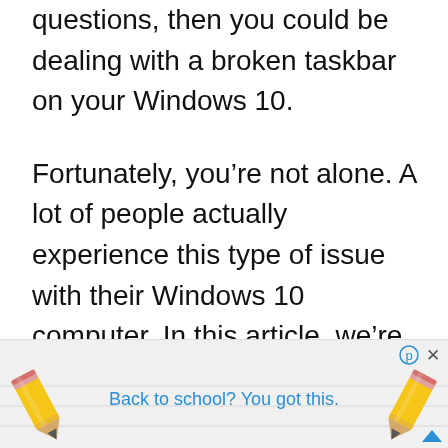questions, then you could be dealing with a broken taskbar on your Windows 10.
Fortunately, you’re not alone. A lot of people actually experience this type of issue with their Windows 10 computer. In this article, we’re going to give you a few fixes that can resolve the issue. But before that, let’s know what the Windows 10 taskbar is first.
[Figure (other): Advertisement banner at the bottom of the page showing two pencils and the text 'Back to school? You got this.' with close and ad-choice icons.]